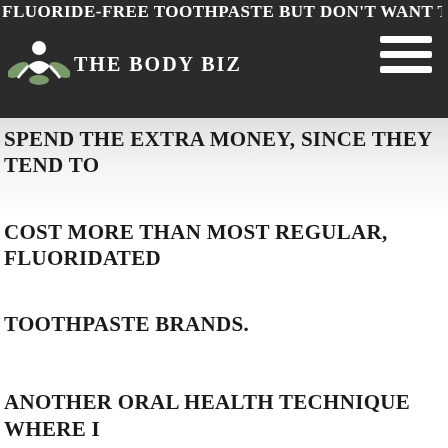FLUORIDE-FREE TOOTHPASTE BUT DON'T WANT TO
[Figure (logo): The Body Biz logo: yoga meditating figure with lotus leaves icon in white on dark background, with text THE BODY BIZ]
SPEND THE EXTRA MONEY, SINCE THEY TEND TO
COST MORE THAN MOST REGULAR, FLUORIDATED
TOOTHPASTE BRANDS.
ANOTHER ORAL HEALTH TECHNIQUE WHERE I
BELIEVE COCONUT OIL CAN BE QUITE BENEFICIAL